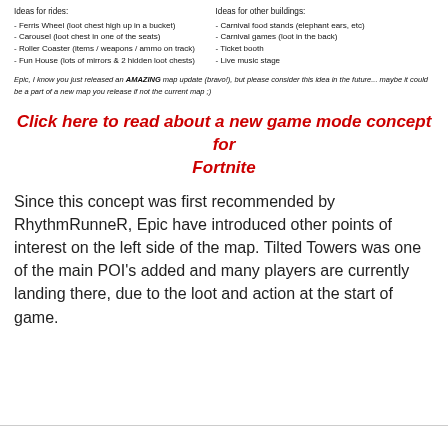Ideas for rides:
- Ferris Wheel (loot chest high up in a bucket)
- Carousel (loot chest in one of the seats)
- Roller Coaster (items / weapons / ammo on track)
- Fun House (lots of mirrors & 2 hidden loot chests)
Ideas for other buildings:
- Carnival food stands (elephant ears, etc)
- Carnival games (loot in the back)
- Ticket booth
- Live music stage
Epic, I know you just released an AMAZING map update (bravo!), but please consider this idea in the future... maybe it could be a part of a new map you release if not the current map ;)
Click here to read about a new game mode concept for Fortnite
Since this concept was first recommended by RhythmRunneR, Epic have introduced other points of interest on the left side of the map. Tilted Towers was one of the main POI's added and many players are currently landing there, due to the loot and action at the start of game.